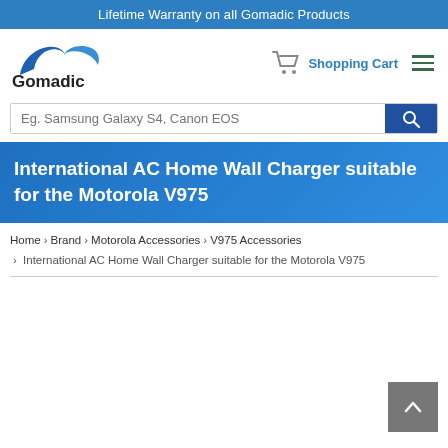Lifetime Warranty on all Gomadic Products
[Figure (logo): Gomadic logo with blue swoosh and text]
Shopping Cart
Eg. Samsung Galaxy S4, Canon EOS
International AC Home Wall Charger suitable for the Motorola V975
Home > Brand > Motorola Accessories > V975 Accessories > International AC Home Wall Charger suitable for the Motorola V975